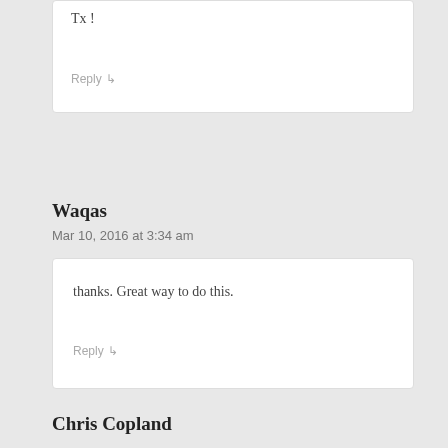Tx !
Reply ↵
Waqas
Mar 10, 2016 at 3:34 am
thanks. Great way to do this.
Reply ↵
Chris Copland